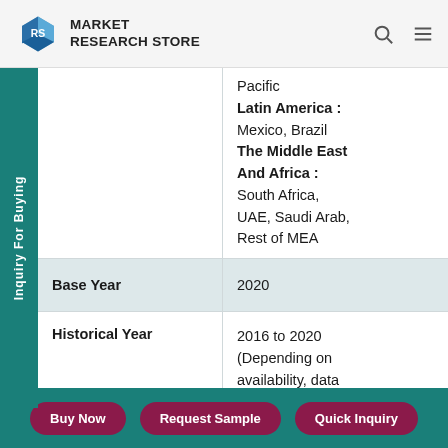MARKET RESEARCH STORE
Pacific
Latin America : Mexico, Brazil
The Middle East And Africa : South Africa, UAE, Saudi Arab, Rest of MEA
|  |  |
| --- | --- |
| Base Year | 2020 |
| Historical Year | 2016 to 2020 (Depending on availability, data from 2010 can be |
Buy Now | Request Sample | Quick Inquiry